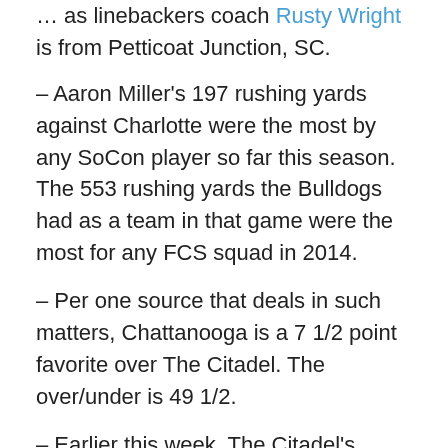... as linebackers coach Rusty Wright is from Petticoat Junction, SC.
– Aaron Miller's 197 rushing yards against Charlotte were the most by any SoCon player so far this season. The 553 rushing yards the Bulldogs had as a team in that game were the most for any FCS squad in 2014.
– Per one source that deals in such matters, Chattanooga is a 7 1/2 point favorite over The Citadel. The over/under is 49 1/2.
– Earlier this week, The Citadel's game next season against South Carolina was confirmed. The game will be played on November 21, 2015, and will be the final regular-season matchup that season for the military college.